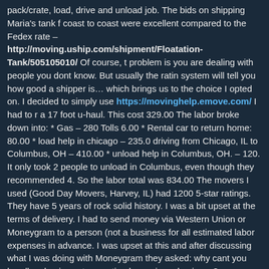pack/crate, load, drive and unload job. The bids on shipping Maria's tank f coast to coast were excellent compared to the Fedex rate – http://moving.uship.com/shipment/Floatation-Tank/505105010/ Of course, the problem is you are dealing with people you dont know. But usually the rating system will tell you how good a shipper is… which brings us to the choice I opted on. I decided to simply use https://movinghelp.emove.com/ I had to rent a 17 foot u-haul. This cost 329.00 The labor broke down into: * Gas – 280 * Tolls 6.00 * Rental car to return home: 80.00 * load help in chicago – 235.00 * driving from Chicago, IL to Columbus, OH – 410.00 * unload help in Columbus, OH. – 120. It only took 2 people to unload in Columbus, even though they recommended 4. So the labor total was 834.00 The movers I used (Good Day Movers, Harvey, IL) had 1200 5-star ratings. They have 5 years of rock solid history. I was a bit upset at the terms of delivery. I had to send money via Western Union or Moneygram to a person (not a business) for all estimated labor expenses in advance. I was upset at this and after discussing what I was doing with Moneygram they asked: why cant you handle a business transaction by paying a business? Eventually moneygram refused to send the money electronically (because the description of what I was doing sounded like fraud to them), so I had to go in-person to send it, knowing full well the risks involved. I wanted to use Paypal so that the money could be taken back if I had issues. But it would've taken 3-5 days to...